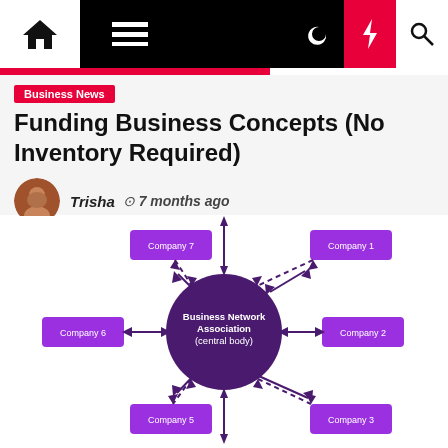Navigation bar with home, menu, moon, bolt, search icons
Business News
Funding Business Concepts (No Inventory Required)
Trisha  7 months ago
[Figure (network-graph): Business Network Association (central body) diagram with 6 company nodes: Company 1, Company 2, Company 3, Company 5, Company 6, Company 7, connected to central circle with bidirectional arrows (solid and dashed).]